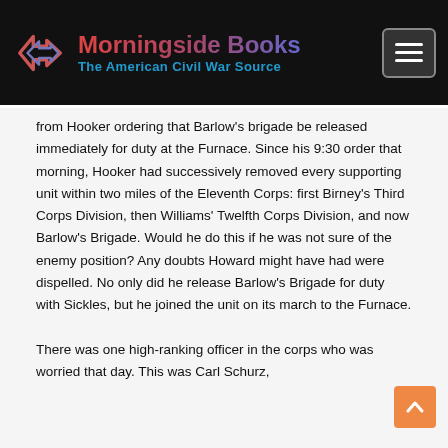Morningside Books — The American Civil War Source
from Hooker ordering that Barlow's brigade be released immediately for duty at the Furnace. Since his 9:30 order that morning, Hooker had successively removed every supporting unit within two miles of the Eleventh Corps: first Birney's Third Corps Division, then Williams' Twelfth Corps Division, and now Barlow's Brigade. Would he do this if he was not sure of the enemy position? Any doubts Howard might have had were dispelled. No only did he release Barlow's Brigade for duty with Sickles, but he joined the unit on its march to the Furnace.
There was one high-ranking officer in the corps who was worried that day. This was Carl Schurz,